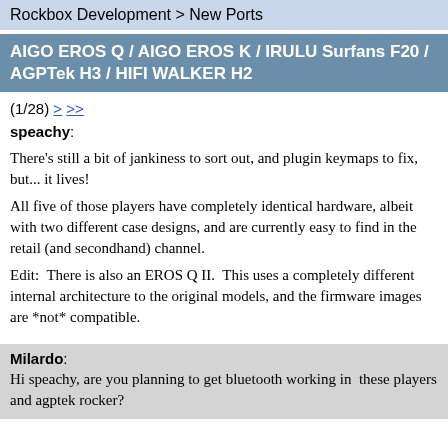Rockbox Development > New Ports
AIGO EROS Q / AIGO EROS K / IRULU Surfans F20 / AGPTek H3 / HIFI WALKER H2
(1/28) > >>
speachy:
There's still a bit of jankiness to sort out, and plugin keymaps to fix, but... it lives!
All five of those players have completely identical hardware, albeit with two different case designs, and are currently easy to find in the retail (and secondhand) channel.
Edit:  There is also an EROS Q II.  This uses a completely different internal architecture to the original models, and the firmware images are *not* compatible.
Milardo: Hi speachy, are you planning to get bluetooth working in  these players and agptek rocker?